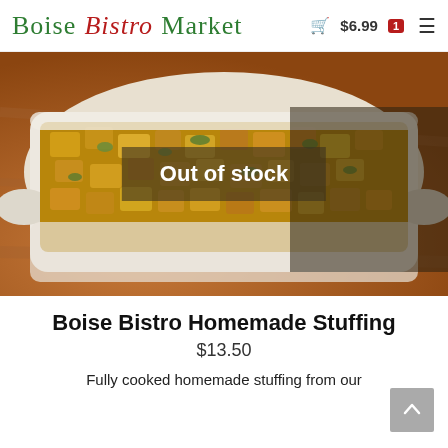Boise Bistro Market  🛒 $6.99  1  ☰
[Figure (photo): A white baking dish filled with homemade stuffing (bread cubes, celery, herbs) placed on a wooden cutting board. An 'Out of stock' overlay banner appears across the center of the image.]
Boise Bistro Homemade Stuffing
$13.50
Fully cooked homemade stuffing from our